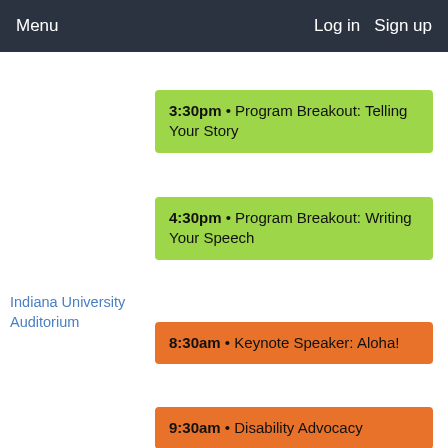Menu    Log in   Sign up
3:30pm • Program Breakout: Telling Your Story
4:30pm • Program Breakout: Writing Your Speech
Indiana University Auditorium
8:30am • Keynote Speaker: Aloha!
9:30am • Disability Advocacy